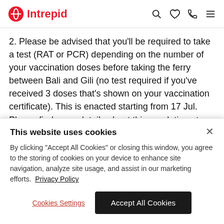Intrepid [logo + nav icons: search, heart, phone, menu]
2. Please be advised that you'll be required to take a test (RAT or PCR) depending on the number of your vaccination doses before taking the ferry between Bali and Gili (no test required if you've received 3 doses that's shown on your vaccination certificate). This is enacted starting from 17 Jul. Please find more details about this regulation at https://www.indonesia.travel/th/en/news/here-are-the-newest-regulations... The cost of the test will
This website uses cookies
By clicking "Accept All Cookies" or closing this window, you agree to the storing of cookies on your device to enhance site navigation, analyze site usage, and assist in our marketing efforts. Privacy Policy
Cookies Settings  Accept All Cookies